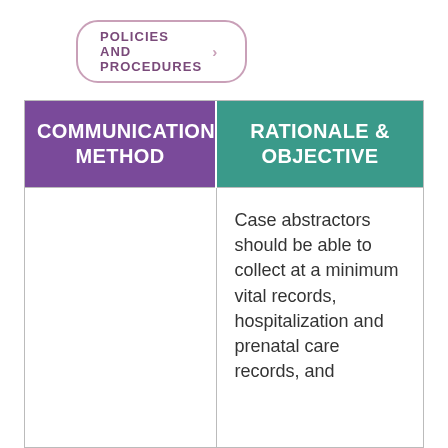POLICIES AND PROCEDURES >
| COMMUNICATION METHOD | RATIONALE & OBJECTIVE |
| --- | --- |
|  | Case abstractors should be able to collect at a minimum vital records, hospitalization and prenatal care records, and |